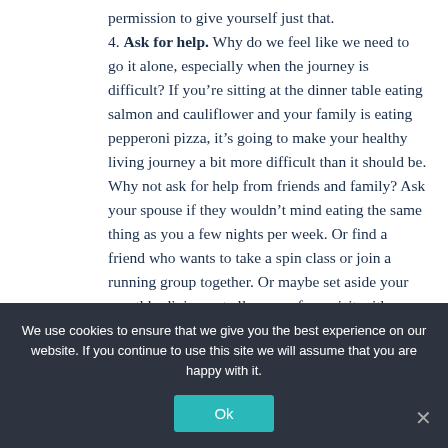permission to give yourself just that.
4. Ask for help. Why do we feel like we need to go it alone, especially when the journey is difficult? If you're sitting at the dinner table eating salmon and cauliflower and your family is eating pepperoni pizza, it's going to make your healthy living journey a bit more difficult than it should be. Why not ask for help from friends and family? Ask your spouse if they wouldn't mind eating the same thing as you a few nights per week. Or find a friend who wants to take a spin class or join a running group together. Or maybe set aside your monthly dining out allowance for a visit with a Dietitian. If you need
We use cookies to ensure that we give you the best experience on our website. If you continue to use this site we will assume that you are happy with it.